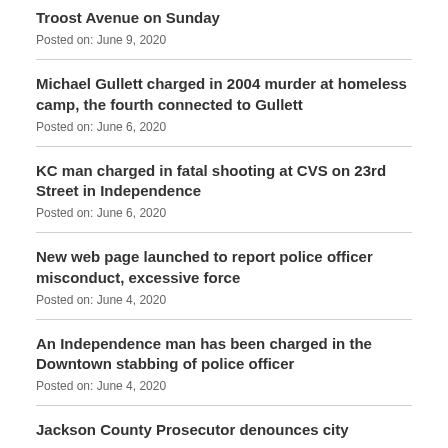Troost Avenue on Sunday
Posted on: June 9, 2020
Michael Gullett charged in 2004 murder at homeless camp, the fourth connected to Gullett
Posted on: June 6, 2020
KC man charged in fatal shooting at CVS on 23rd Street in Independence
Posted on: June 6, 2020
New web page launched to report police officer misconduct, excessive force
Posted on: June 4, 2020
An Independence man has been charged in the Downtown stabbing of police officer
Posted on: June 4, 2020
Jackson County Prosecutor denounces city